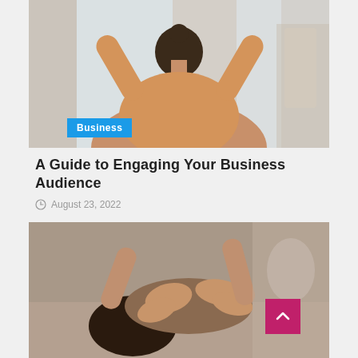[Figure (photo): Woman seen from behind with arms raised outward, wearing a tan/beige sweater, standing in front of curtains or a window. Another person visible to the right.]
Business
A Guide to Engaging Your Business Audience
August 23, 2022
[Figure (photo): Close-up of a person receiving a back/neck massage. Therapist's hands visible pressing on the patient's upper back and neck area.]